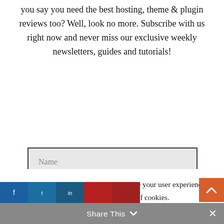you say you need the best hosting, theme & plugin reviews too? Well, look no more. Subscribe with us right now and never miss our exclusive weekly newsletters, guides and tutorials!
[Figure (screenshot): A web form with two input fields: 'Name' and 'Email', with a dark navy border]
Our website uses cookies to improve your user experience. If you continue browsing, we assume that you consent to our use of cookies.
Okay   Read More
Share This   ×